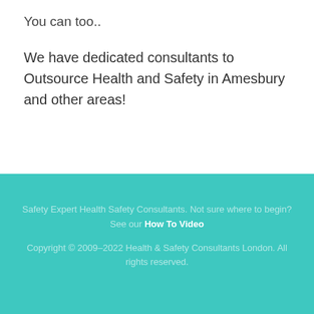You can too..
We have dedicated consultants to Outsource Health and Safety in Amesbury and other areas!
Safety Expert Health Safety Consultants. Not sure where to begin? See our How To Video
Copyright © 2009–2022 Health & Safety Consultants London. All rights reserved.